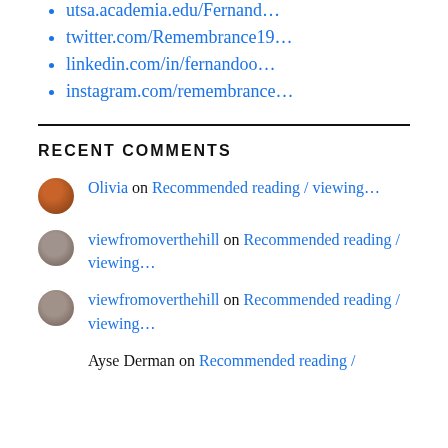utsa.academia.edu/Fernand…
twitter.com/Remembrance19…
linkedin.com/in/fernandoo…
instagram.com/remembrance…
RECENT COMMENTS
Olivia on Recommended reading / viewing…
viewfromoverthehill on Recommended reading / viewing…
viewfromoverthehill on Recommended reading / viewing…
Ayse Derman on Recommended reading /